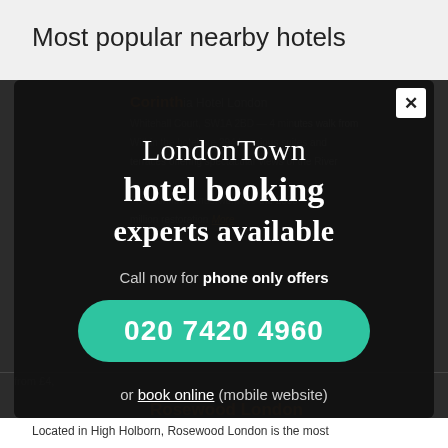Most popular nearby hotels
[Figure (screenshot): A modal popup overlay on a hotel listing page showing LondonTown hotel booking experts available, with a phone number 020 7420 4960 and a book online link. Background shows Corinthia and Rosewood London hotel listings.]
LondonTown
hotel booking
experts available
Call now for phone only offers
020 7420 4960
or book online (mobile website)
Rosewood London
252 High Holborn, WC1V 7EN, 3 minutes walk from
Located in High Holborn, Rosewood London is the most luxurious hotel in the area and is nearby to the capital's main business district and a number More